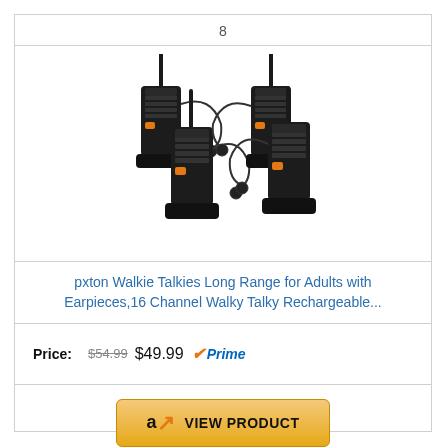8
[Figure (photo): Four black walkie talkies with orange accents and earpieces, sitting in charging docks]
pxton Walkie Talkies Long Range for Adults with Earpieces,16 Channel Walky Talky Rechargeable...
Price: $54.99 $49.99 Prime
VIEW PRODUCT